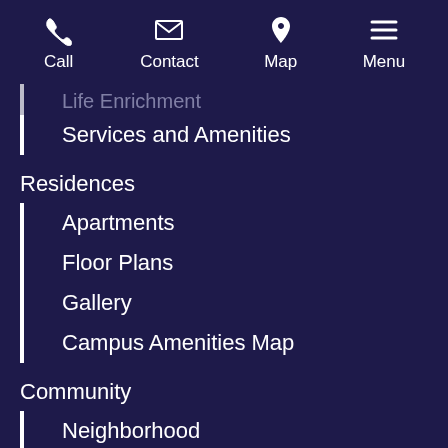Call | Contact | Map | Menu
Life Enrichment (truncated)
Services and Amenities
Residences
Apartments
Floor Plans
Gallery
Campus Amenities Map
Community
Neighborhood
Discover Charlotte
This site uses cookies and contact forms to best inform you about our services.  Learn More     I Agree